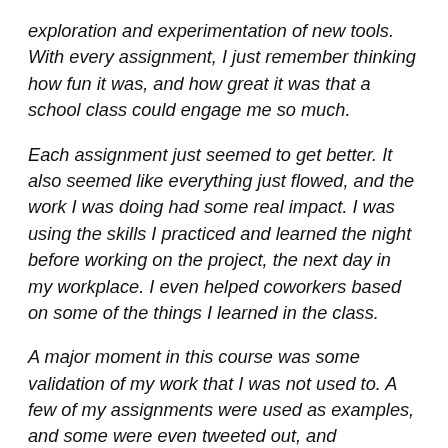exploration and experimentation of new tools. With every assignment, I just remember thinking how fun it was, and how great it was that a school class could engage me so much.
Each assignment just seemed to get better. It also seemed like everything just flowed, and the work I was doing had some real impact. I was using the skills I practiced and learned the night before working on the project, the next day in my workplace. I even helped coworkers based on some of the things I learned in the class.
A major moment in this course was some validation of my work that I was not used to. A few of my assignments were used as examples, and some were even tweeted out, and retweeted! The fact that a professional in this field (the professor) and others thought my project had